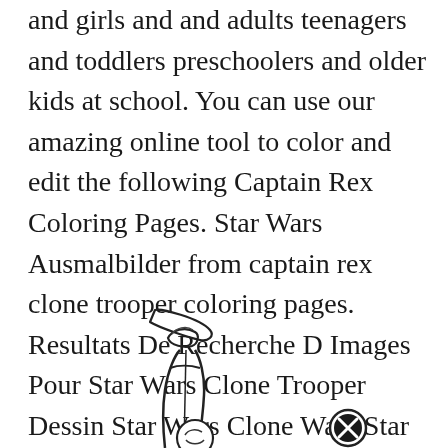and girls and and adults teenagers and toddlers preschoolers and older kids at school. You can use our amazing online tool to color and edit the following Captain Rex Coloring Pages. Star Wars Ausmalbilder from captain rex clone trooper coloring pages. Resultats De Recherche D Images Pour Star Wars Clone Trooper Dessin Star Wars Clone Wars Star Wars Coloring Sheet Clone Wars.
[Figure (illustration): Partial line drawing illustration of what appears to be a Star Wars clone trooper helmet or character, partially visible at the bottom of the page, with a circular icon containing an X symbol on the right side.]